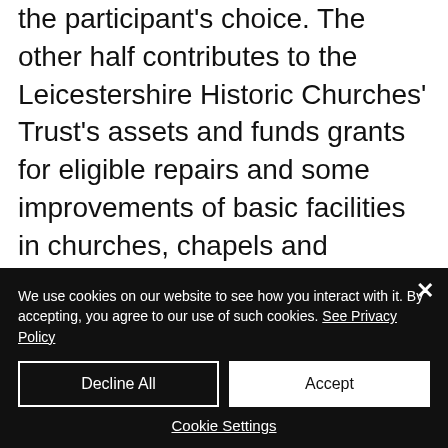the participant's choice. The other half contributes to the Leicestershire Historic Churches' Trust's assets and funds grants for eligible repairs and some improvements of basic facilities in churches, chapels and meeting houses.
The Vestry was open for quiet meditation while we had tables set up with Children's activities in the
We use cookies on our website to see how you interact with it. By accepting, you agree to our use of such cookies. See Privacy Policy
Decline All
Accept
Cookie Settings